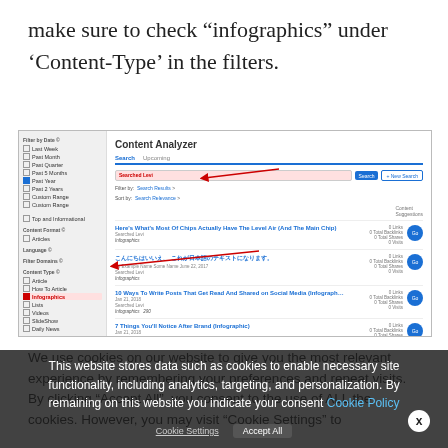make sure to check “infographics” under ‘Content-Type’ in the filters.
[Figure (screenshot): Screenshot of a Content Analyzer tool showing search results filtered by infographics content type. Two red arrows point to 'Searched Levi' in the search bar and 'Infographics' checkbox in the left sidebar filter. Results include articles about chips, Japanese text, social media infographic, and a brand-related infographic.]
We use cookies on our website to give you the most relevant experience by remembering your preferences and repeat visits. By clicking “Accept All”, you consent to the use of ALL the cookies. However, you may visit “Cookie Settings” to provide a controlled consent.
This website stores data such as cookies to enable necessary site functionality, including analytics, targeting, and personalization. By remaining on this website you indicate your consent Cookie Policy